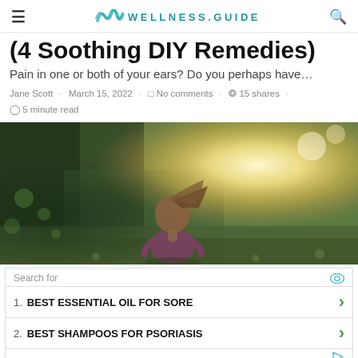≡  WELLNESS.GUIDE  🔍
(4 Soothing DIY Remedies)
Pain in one or both of your ears? Do you perhaps have…
Jane Scott · March 15, 2022 · No comments · 15 shares · 5 minute read
[Figure (photo): Child with long hair seen from behind, sitting in a sunlit outdoor meadow with warm golden light in the background.]
Search for
1. BEST ESSENTIAL OIL FOR SORE
2. BEST SHAMPOOS FOR PSORIASIS